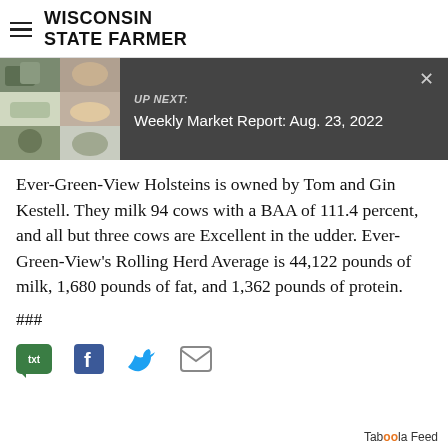WISCONSIN STATE FARMER
[Figure (screenshot): UP NEXT banner with animal photo collage on left and text 'UP NEXT: Weekly Market Report: Aug. 23, 2022' on dark grey background with X close button]
Ever-Green-View Holsteins is owned by Tom and Gin Kestell. They milk 94 cows with a BAA of 111.4 percent, and all but three cows are Excellent in the udder. Ever-Green-View's Rolling Herd Average is 44,122 pounds of milk, 1,680 pounds of fat, and 1,362 pounds of protein.
###
[Figure (infographic): Social share icons: txt (green speech bubble), Facebook, Twitter, Email]
Taboola Feed